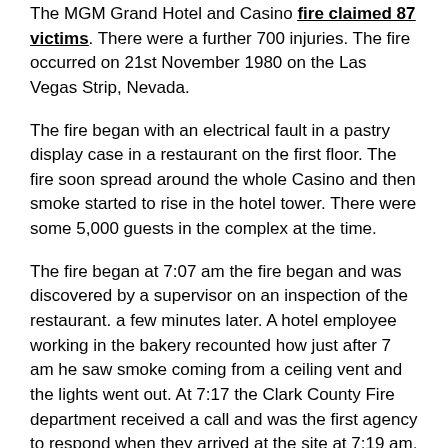The MGM Grand Hotel and Casino fire claimed 87 victims. There were a further 700 injuries. The fire occurred on 21st November 1980 on the Las Vegas Strip, Nevada.
The fire began with an electrical fault in a pastry display case in a restaurant on the first floor. The fire soon spread around the whole Casino and then smoke started to rise in the hotel tower. There were some 5,000 guests in the complex at the time.
The fire began at 7:07 am the fire began and was discovered by a supervisor on an inspection of the restaurant. a few minutes later. A hotel employee working in the bakery recounted how just after 7 am he saw smoke coming from a ceiling vent and the lights went out. At 7:17 the Clark County Fire department received a call and was the first agency to respond when they arrived at the site at 7:19 am.